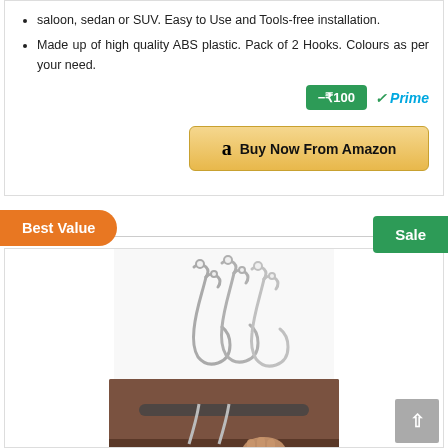saloon, sedan or SUV. Easy to Use and Tools-free installation.
Made up of high quality ABS plastic. Pack of 2 Hooks. Colours as per your need.
−₹100
✓Prime
Buy Now From Amazon
Best Value
Sale
[Figure (photo): Silver metal car headrest hooks product image]
[Figure (photo): Photo showing car hooks being installed on a car seat headrest]